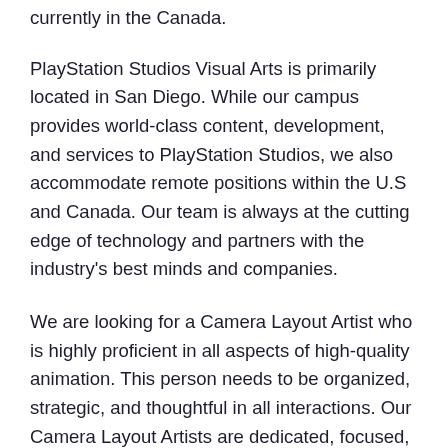currently in the Canada.
PlayStation Studios Visual Arts is primarily located in San Diego. While our campus provides world-class content, development, and services to PlayStation Studios, we also accommodate remote positions within the U.S and Canada. Our team is always at the cutting edge of technology and partners with the industry's best minds and companies.
We are looking for a Camera Layout Artist who is highly proficient in all aspects of high-quality animation. This person needs to be organized, strategic, and thoughtful in all interactions. Our Camera Layout Artists are dedicated, focused, and self-motivated to produce high-quality cinematic